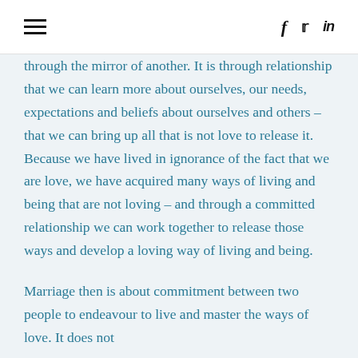≡  f  𝕏  in
through the mirror of another. It is through relationship that we can learn more about ourselves, our needs, expectations and beliefs about ourselves and others – that we can bring up all that is not love to release it. Because we have lived in ignorance of the fact that we are love, we have acquired many ways of living and being that are not loving – and through a committed relationship we can work together to release those ways and develop a loving way of living and being.
Marriage then is about commitment between two people to endeavour to live and master the ways of love. It does not